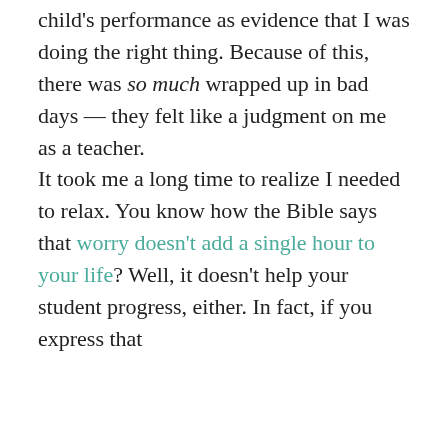child's performance as evidence that I was doing the right thing. Because of this, there was so much wrapped up in bad days — they felt like a judgment on me as a teacher.
It took me a long time to realize I needed to relax. You know how the Bible says that worry doesn't add a single hour to your life? Well, it doesn't help your student progress, either. In fact, if you express that